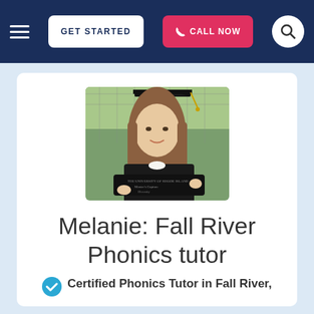GET STARTED | CALL NOW
[Figure (photo): Young woman in graduation cap and gown holding a diploma from The University of Rhode Island, smiling outdoors in front of a chain-link fence]
Melanie: Fall River Phonics tutor
Certified Phonics Tutor in Fall River,